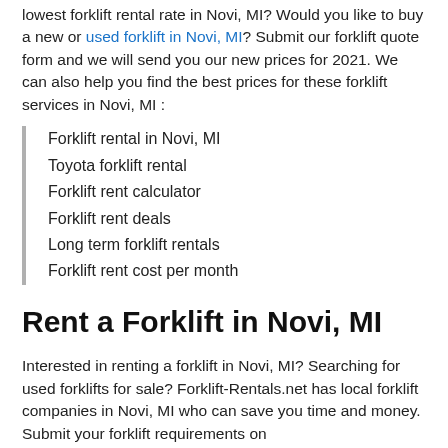lowest forklift rental rate in Novi, MI? Would you like to buy a new or used forklift in Novi, MI? Submit our forklift quote form and we will send you our new prices for 2021. We can also help you find the best prices for these forklift services in Novi, MI :
Forklift rental in Novi, MI
Toyota forklift rental
Forklift rent calculator
Forklift rent deals
Long term forklift rentals
Forklift rent cost per month
Rent a Forklift in Novi, MI
Interested in renting a forklift in Novi, MI? Searching for used forklifts for sale? Forklift-Rentals.net has local forklift companies in Novi, MI who can save you time and money. Submit your forklift requirements on